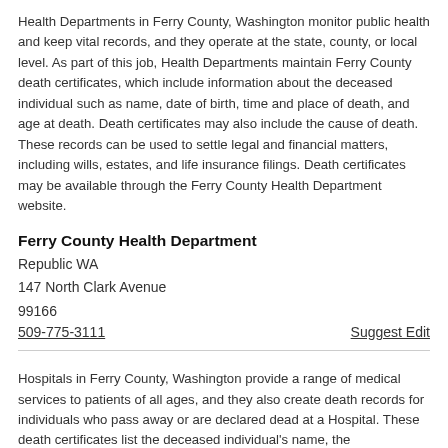Health Departments in Ferry County, Washington monitor public health and keep vital records, and they operate at the state, county, or local level. As part of this job, Health Departments maintain Ferry County death certificates, which include information about the deceased individual such as name, date of birth, time and place of death, and age at death. Death certificates may also include the cause of death. These records can be used to settle legal and financial matters, including wills, estates, and life insurance filings. Death certificates may be available through the Ferry County Health Department website.
Ferry County Health Department
Republic WA
147 North Clark Avenue
99166
509-775-3111	Suggest Edit
Hospitals in Ferry County, Washington provide a range of medical services to patients of all ages, and they also create death records for individuals who pass away or are declared dead at a Hospital. These death certificates list the deceased individual's name, the